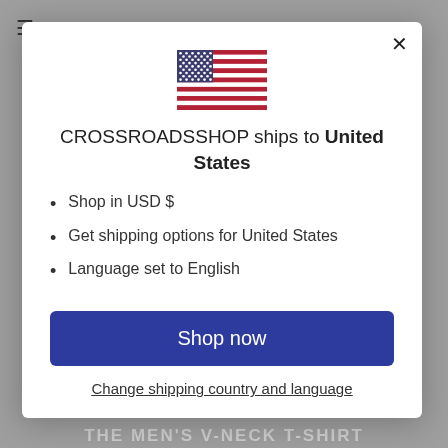[Figure (illustration): US flag SVG illustration]
CROSSROADSSHOP ships to United States
Shop in USD $
Get shipping options for United States
Language set to English
Shop now
Change shipping country and language